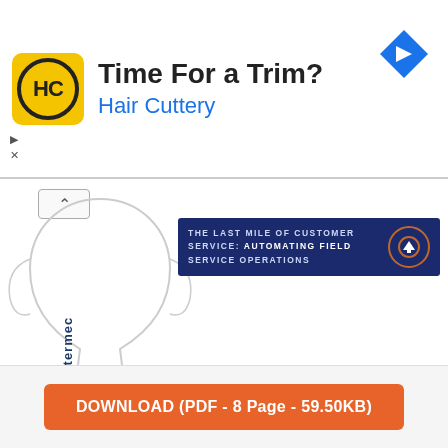[Figure (other): Hair Cuttery advertisement banner with yellow HC logo, text 'Time For a Trim?' and 'Hair Cuttery' in blue, and a blue diamond navigation icon]
[Figure (other): Partial view of an Intermec white paper document preview showing the Intermec trophy logo, blue square logo, 'White Paper' text label, and a dark blue banner reading 'THE LAST MILE OF CUSTOMER SERVICE: AUTOMATING FIELD SERVICE OPERATIONS' with an orange upload/arrow circle icon]
DOWNLOAD (PDF - 8 Page - 59.50KB)